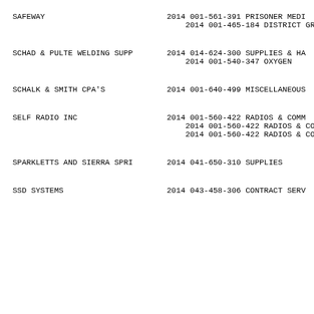SAFEWAY    2014 001-561-391 PRISONER MEDI
                2014 001-465-184 DISTRICT GRA
SCHAD & PULTE WELDING SUPP  2014 014-624-300 SUPPLIES & HA
                            2014 001-540-347 OXYGEN
SCHALK & SMITH CPA'S        2014 001-640-499 MISCELLANEOUS
SELF RADIO INC              2014 001-560-422 RADIOS & COMM
                            2014 001-560-422 RADIOS & COMM
                            2014 001-560-422 RADIOS & COMM
SPARKLETTS AND SIERRA SPRI  2014 041-650-310 SUPPLIES
SSD SYSTEMS                 2014 043-458-306 CONTRACT SERV